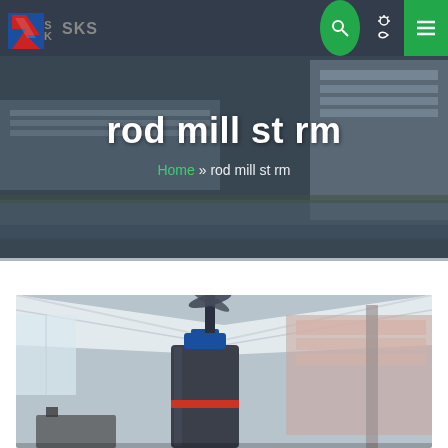[Figure (logo): SKS company logo with red and blue stylized S shape and grey SKS text]
rod mill st rm
Home » rod mill st rm
[Figure (photo): Industrial rod mill equipment inside a large factory/warehouse with white tent-like ceiling structure, showing a large dark cylindrical mill machine with blue top fitting and red band, industrial building visible in background through open sides]